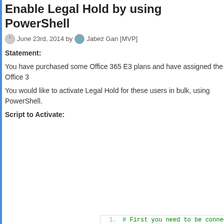Enable Legal Hold by using PowerShell
June 23rd, 2014 by Jabez Gan [MVP]
Statement:
You have purchased some Office 365 E3 plans and have assigned the Office 3
You would like to activate Legal Hold for these users in bulk, using PowerShell.
Script to Activate:
[Figure (screenshot): PowerShell code block showing a script to enable Legal Hold on Office 365 mailboxes. Line numbers 1-14 visible. Code includes comments, variables $pagesize, $inc, Get-Mailbox with Filter and parameters, Write-Output, if() statement, Set-Mailbox, do/while loop.]